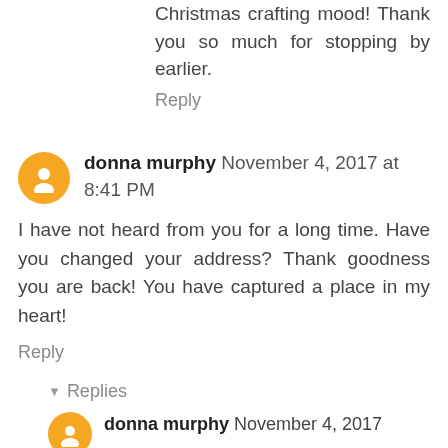Christmas crafting mood! Thank you so much for stopping by earlier.
Reply
donna murphy November 4, 2017 at 8:41 PM
I have not heard from you for a long time. Have you changed your address? Thank goodness you are back! You have captured a place in my heart!
Reply
Replies
donna murphy November 4, 2017